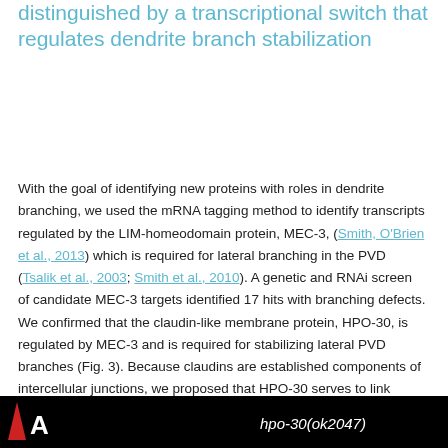distinguished by a transcriptional switch that regulates dendrite branch stabilization
With the goal of identifying new proteins with roles in dendrite branching, we used the mRNA tagging method to identify transcripts regulated by the LIM-homeodomain protein, MEC-3, (Smith, O'Brien et al., 2013) which is required for lateral branching in the PVD (Tsalik et al., 2003; Smith et al., 2010). A genetic and RNAi screen of candidate MEC-3 targets identified 17 hits with branching defects. We confirmed that the claudin-like membrane protein, HPO-30, is regulated by MEC-3 and is required for stabilizing lateral PVD branches (Fig. 3). Because claudins are established components of intercellular junctions, we proposed that HPO-30 serves to link nascent PVD dendrites to the adjacent epidermis.
[Figure (photo): Bottom strip of a figure panel showing a black background with a red/orange triangle marker on the left, a white 'A' label, and italic gene name 'hpo-30(ok2047)' in white text on the right.]